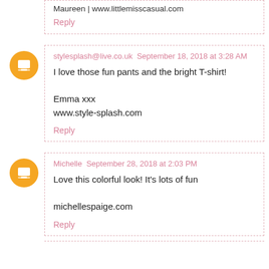Maureen | www.littlemisscasual.com
Reply
stylesplash@live.co.uk  September 18, 2018 at 3:28 AM
I love those fun pants and the bright T-shirt!

Emma xxx
www.style-splash.com
Reply
Michelle  September 28, 2018 at 2:03 PM
Love this colorful look! It's lots of fun

michellespaige.com
Reply